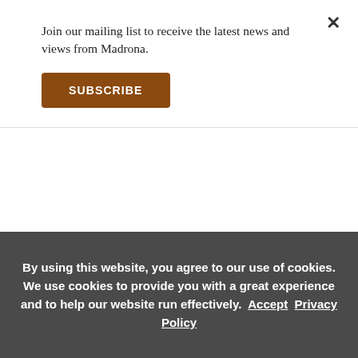Join our mailing list to receive the latest news and views from Madrona.
SUBSCRIBE
patients from real world clinical practice rather than a controlled clinical trials. So as a patient, you may get enrolled in [OO:09:00] a clinical trial and a doctor who’s not your own may maybe collecting data specifically for that clinical trial.
But every time you visit your provider or get a task that goes into your medical record, that’s potentially real
By using this website, you agree to our use of cookies. We use cookies to provide you with a great experience and to help our website run effectively.  Accept  Privacy Policy